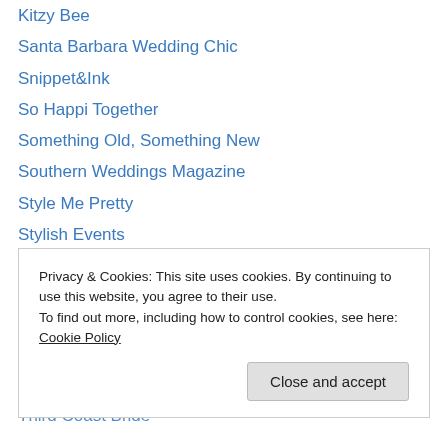Kitzy Bee
Santa Barbara Wedding Chic
Snippet&Ink
So Happi Together
Something Old, Something New
Southern Weddings Magazine
Style Me Pretty
Stylish Events
The Bride's Cafe
The Bride's Guide
The Perfect Palette
The Wedding Chicks
The Wedding Co.
Third Coast Bride
Privacy & Cookies: This site uses cookies. By continuing to use this website, you agree to their use. To find out more, including how to control cookies, see here: Cookie Policy
Close and accept